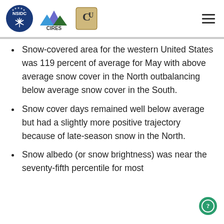NSIDC CIRES CU logos and hamburger menu
Snow-covered area for the western United States was 119 percent of average for May with above average snow cover in the North outbalancing below average snow cover in the South.
Snow cover days remained well below average but had a slightly more positive trajectory because of late-season snow in the North.
Snow albedo (or snow brightness) was near the seventy-fifth percentile for most of May, in near-silhouette terms in the